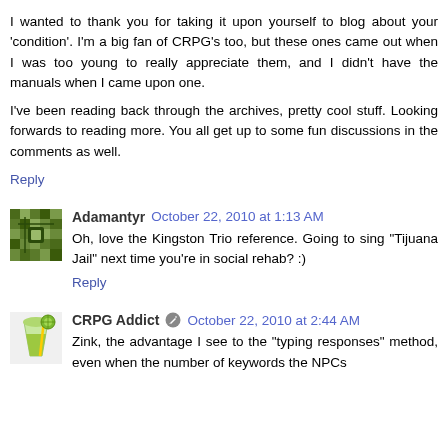I wanted to thank you for taking it upon yourself to blog about your 'condition'. I'm a big fan of CRPG's too, but these ones came out when I was too young to really appreciate them, and I didn't have the manuals when I came upon one.
I've been reading back through the archives, pretty cool stuff. Looking forwards to reading more. You all get up to some fun discussions in the comments as well.
Reply
Adamantyr  October 22, 2010 at 1:13 AM
Oh, love the Kingston Trio reference. Going to sing "Tijuana Jail" next time you're in social rehab? :)
Reply
CRPG Addict  October 22, 2010 at 2:44 AM
Zink, the advantage I see to the "typing responses" method, even when the number of keywords the NPCs...